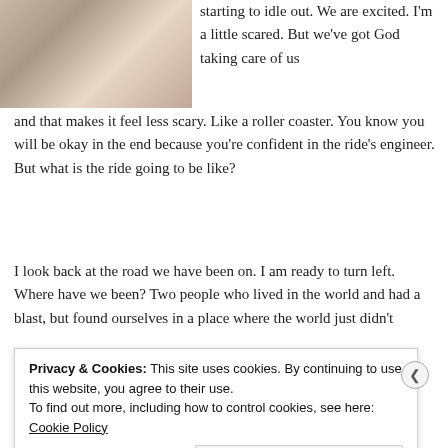[Figure (photo): Close-up photo of a person smiling, warm skin tones]
starting to idle out. We are excited. I'm a little scared. But we've got God taking care of us and that makes it feel less scary. Like a roller coaster. You know you will be okay in the end because you're confident in the ride's engineer. But what is the ride going to be like?
I look back at the road we have been on. I am ready to turn left. Where have we been? Two people who lived in the world and had a blast, but found ourselves in a place where the world just didn't
Privacy & Cookies: This site uses cookies. By continuing to use this website, you agree to their use.
To find out more, including how to control cookies, see here: Cookie Policy

Close and accept